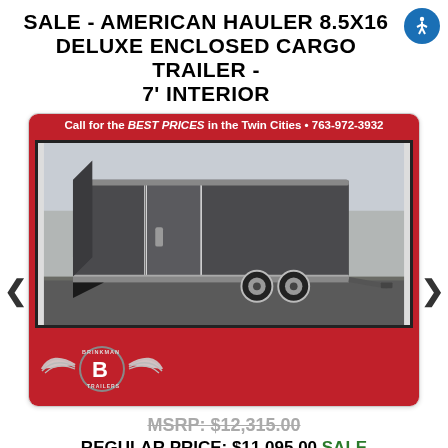SALE - AMERICAN HAULER 8.5X16 DELUXE ENCLOSED CARGO TRAILER - 7' INTERIOR
[Figure (photo): Photo of a dark gray American Hauler enclosed cargo trailer (8.5x16) with dual axle, displayed on a parking lot with trees in background. Red border frame with Brinkman Trailers logo and phone number banner.]
MSRP: $12,315.00
REGULAR PRICE: $11,095.00 SALE PRICE: $9,995.00 SAVINGS: $2,320